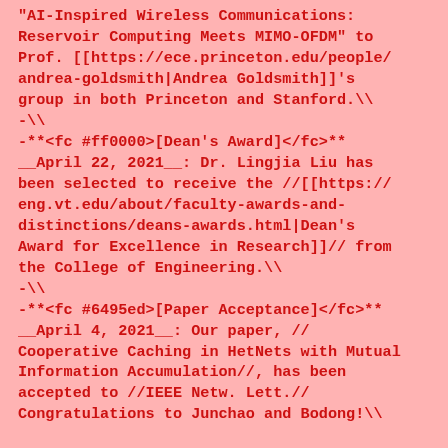"AI-Inspired Wireless Communications: Reservoir Computing Meets MIMO-OFDM" to Prof. [[https://ece.princeton.edu/people/andrea-goldsmith|Andrea Goldsmith]]'s group in both Princeton and Stanford.\\
-\\
-**<fc #ff0000>[Dean's Award]</fc>** __April 22, 2021__: Dr. Lingjia Liu has been selected to receive the //[[https://eng.vt.edu/about/faculty-awards-and-distinctions/deans-awards.html|Dean's Award for Excellence in Research]]// from the College of Engineering.\\
-\\
-**<fc #6495ed>[Paper Acceptance]</fc>** __April 4, 2021__: Our paper, //Cooperative Caching in HetNets with Mutual Information Accumulation//, has been accepted to //IEEE Netw. Lett.// Congratulations to Junchao and Bodong!\\